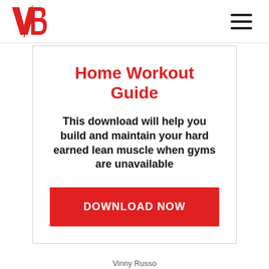VB logo and hamburger menu
Home Workout Guide
This download will help you build and maintain your hard earned lean muscle when gyms are unavailable
DOWNLOAD NOW
Vinny Russo